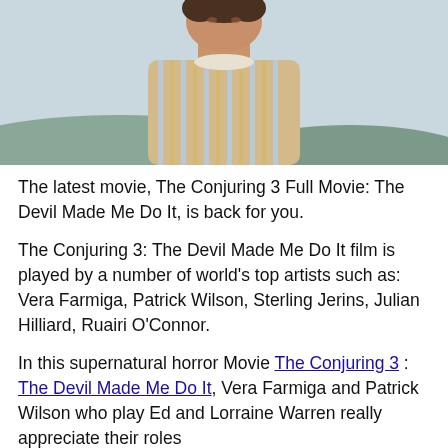[Figure (photo): A woman in a Victorian-style striped blouse with ruffled collar, appearing distressed, photographed outdoors with a blurred landscape background.]
The latest movie, The Conjuring 3 Full Movie: The Devil Made Me Do It, is back for you.
The Conjuring 3: The Devil Made Me Do It film is played by a number of world’s top artists such as: Vera Farmiga, Patrick Wilson, Sterling Jerins, Julian Hilliard, Ruairi O’Connor.
In this supernatural horror Movie The Conjuring 3 : The Devil Made Me Do It, Vera Farmiga and Patrick Wilson who play Ed and Lorraine Warren really appreciate their roles